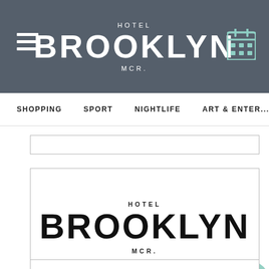HOTEL BROOKLYN MCR.
SHOPPING    SPORT    NIGHTLIFE    ART & ENTER...
[Figure (logo): Hotel Brooklyn MCR. logo — text logo with HOTEL above, large BROOKLYN, and MCR. below, inside a bordered rectangle]
[Figure (other): Partial bordered card at bottom of page]